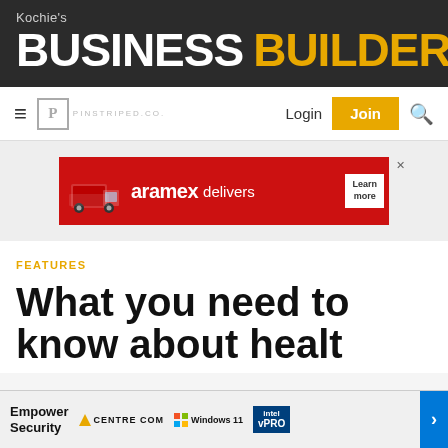Kochie's BUSINESS BUILDERS
[Figure (screenshot): Navigation bar with hamburger menu, Pinstriped logo, Login button, yellow Join button, and search icon]
[Figure (infographic): Aramex delivers - red banner advertisement with delivery truck image, aramex logo, 'delivers' text, and 'Learn more' white button]
FEATURES
What you need to know about healthy ...
[Figure (screenshot): Bottom popup ad: Empower Security, Centre Com logo, Windows 11 logo, Intel vPRO badge, blue arrow button]